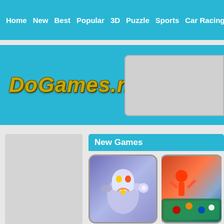Home  New  Best  Popular  3D  Puzzle  Sports  Car Racing  Sol...
[Figure (logo): DoGames.net logo in gold italic text on teal background]
New Games
[Figure (photo): Ninja Robo Hero game thumbnail - animated robot character]
Ninja Robo Hero
[Figure (photo): Hero game thumbnail - partially visible, action scene]
Hero